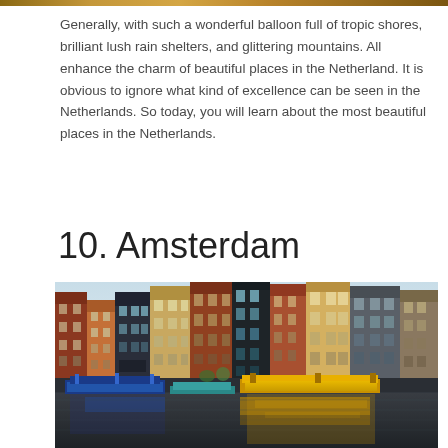Generally, with such a wonderful balloon full of tropic shores, brilliant lush rain shelters, and glittering mountains. All enhance the charm of beautiful places in the Netherland. It is obvious to ignore what kind of excellence can be seen in the Netherlands. So today, you will learn about the most beautiful places in the Netherlands.
10. Amsterdam
[Figure (photo): Photo of Amsterdam canal-side with colourful Dutch canal houses reflected in the water, with houseboats moored in the foreground and a clear sky background.]